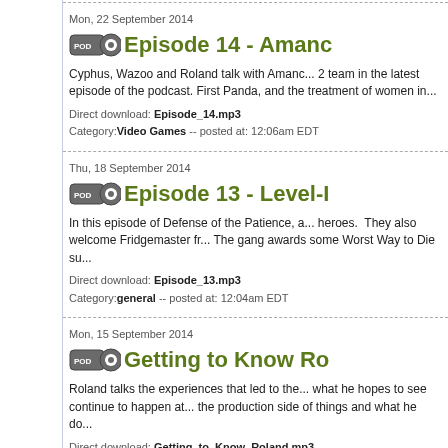Mon, 22 September 2014
Episode 14 - Amand...
Cyphus, Wazoo and Roland talk with Amand... 2 team in the latest episode of the podcast. First Panda, and the treatment of women in...
Direct download: Episode_14.mp3
Category: Video Games -- posted at: 12:06am EDT
Thu, 18 September 2014
Episode 13 - Level-...
In this episode of Defense of the Patience, a... heroes. They also welcome Fridgemaster fr... The gang awards some Worst Way to Die su...
Direct download: Episode_13.mp3
Category: general -- posted at: 12:04am EDT
Mon, 15 September 2014
Getting to Know Ro...
Roland talks the experiences that led to the... what he hopes to see continue to happen at... the production side of things and what he do...
Direct download: Getting_to_Know_Roland.mp3
Category: Video Games -- posted at: 12:41am EDT
Thu, 11 September 2014
Episode 12 - Losin...